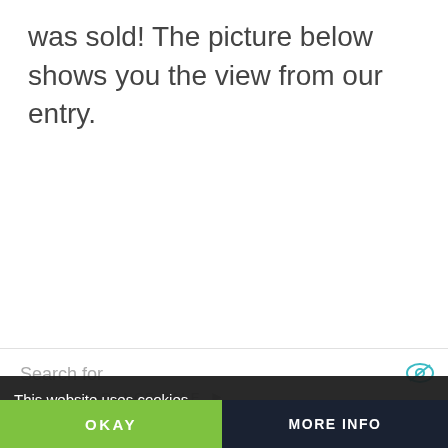was sold! The picture below shows you the view from our entry.
[Figure (screenshot): Website screenshot showing a search bar with 'Search for' placeholder text and an eye icon, overlaid with a dark cookie consent banner saying 'This website uses cookies', a clearance sale row, and bottom action bar with OKAY and MORE INFO buttons]
Search for
This website uses cookies
CLEARANCE SALE
OKAY
MORE INFO